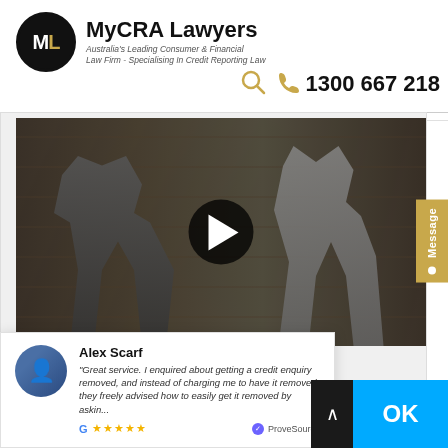[Figure (logo): MyCRA Lawyers logo — black circle with 'ML' initials (M in white, L in gold), next to company name 'MyCRA Lawyers' and tagline "Australia's Leading Consumer & Financial Law Firm - Specialising In Credit Reporting Law"]
1300 667 218
[Figure (photo): Video thumbnail showing two men in a warehouse/storage room with shelves of boxes behind them. A large play button overlay is centered on the video.]
Alex Scarf
"Great service. I enquired about getting a credit enquiry removed, and instead of charging me to have it removed, they freely advised how to easily get it removed by askin..."
★★★★★ ProveSource